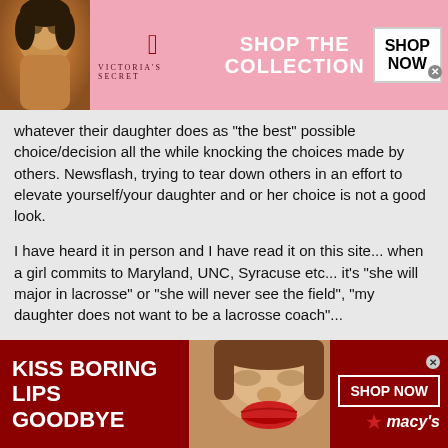[Figure (infographic): Victoria's Secret advertisement banner at top: pink background with model, VS logo, 'SHOP THE COLLECTION' text, and 'SHOP NOW' button]
whatever their daughter does as "the best" possible choice/decision all the while knocking the choices made by others. Newsflash, trying to tear down others in an effort to elevate yourself/your daughter and or her choice is not a good look.
I have heard it in person and I have read it on this site... when a girl commits to Maryland, UNC, Syracuse etc... it's "she will major in lacrosse" or "she will never see the field", "my daughter does not want to be a lacrosse coach"...
September first is when parents and players find out just where they stand in relation to other players. The top players will receive multiple offers from some of the top college programs. There are many great schools that have women's
[Figure (infographic): Macy's advertisement at bottom: dark red background with model showing red lips, 'KISS BORING LIPS GOODBYE' text, 'SHOP NOW' button and Macy's star logo]